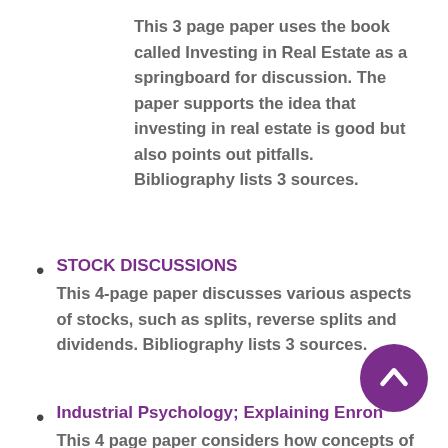This 3 page paper uses the book called Investing in Real Estate as a springboard for discussion. The paper supports the idea that investing in real estate is good but also points out pitfalls. Bibliography lists 3 sources.
STOCK DISCUSSIONS
This 4-page paper discusses various aspects of stocks, such as splits, reverse splits and dividends. Bibliography lists 3 sources.
Industrial Psychology; Explaining Enron
This 4 page paper considers how concepts of industrial psychology can be used to explain the events that lead to the collapse of Enron. The concepts used are those of decision making and collective responsibility and the aspect of executive earnings and self interest. The bibliography cites 3...